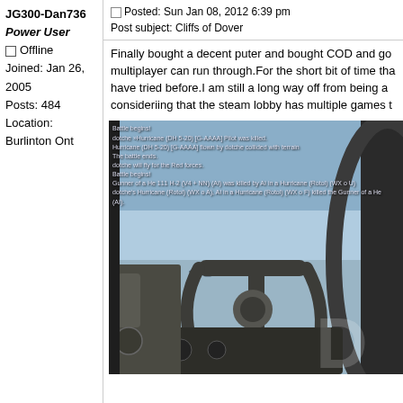JG300-Dan736
Power User
Offline
Joined: Jan 26, 2005
Posts: 484
Location: Burlinton Ont
Posted: Sun Jan 08, 2012 6:39 pm
Post subject: Cliffs of Dover
Finally bought a decent puter and bought COD and go multiplayer can run through.For the short bit of time tha have tried before.I am still a long way off from being a consideriing that the steam lobby has multiple games t
[Figure (screenshot): In-game screenshot from IL-2 Cliffs of Dover showing cockpit interior with control column/yoke in foreground, and aircraft visible in sky background. Overlay text shows battle log messages.]